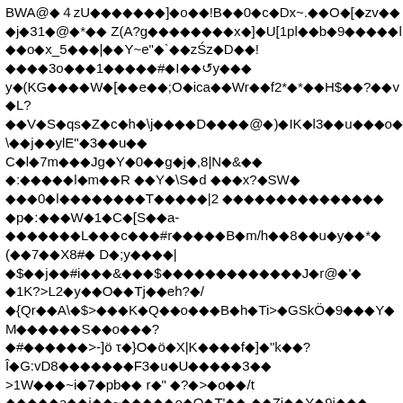BWA@◆4zU◆◆◆◆◆◆]◆o◆◆!B◆◆0◆c◆Dx~.◆◆O◆◆[◆zv◆◆◆j◆31◆@◆*◆◆ Z(A?g◆◆◆◆◆◆◆◆◆x◆]◆U[1pl◆◆b◆9◆◆◆◆◆l◆◆o◆x_5◆◆◆|◆◆Y~e"◆`◆◆zźz◆D◆◆!
◆◆◆◆3o◆◆◆1◆◆◆◆◆#◆I◆◆↺y◆◆◆
y◆(KG◆◆◆◆W◆[◆◆e◆◆;O◆ica◆◆Wr◆◆f2*◆*◆◆H$◆◆?◆◆◆v ◆L?
◆◆V◆S◆qs◆Z◆c◆h◆\j◆◆◆◆D◆◆◆◆@◆)◆IK◆l3◆◆u◆◆◆o◆\◆◆j◆◆ylE"◆3◆◆u◆◆
C◆l◆7m◆◆◆Jg◆Y◆0◆◆g◆j◆,8|N◆&◆◆
◆:◆◆◆◆◆l◆m◆◆R ◆◆Y◆\S◆d ◆◆◆x?◆SW◆
◆◆◆0◆l◆◆◆◆◆◆◆◆T◆◆◆◆◆|2 ◆◆◆◆◆◆◆◆◆◆◆◆◆◆◆◆◆
◆p◆:◆◆◆W◆1◆C◆[S◆◆a-
◆◆◆◆◆◆◆L◆◆◆c◆◆◆#r◆◆◆◆◆B◆m/h◆◆8◆◆u◆y◆◆*◆
(◆◆7◆◆X8#◆ D◆;G◆◆◆◆|
◆$◆◆j◆◆#i◆◆◆&◆◆◆$◆◆◆◆◆◆◆◆◆◆◆◆◆J◆r@◆'◆
◆1K?>L2◆y◆◆O◆◆Tj◆◆eh?◆/
◆{Qr◆◆A\◆$>◆◆◆K◆Q◆◆o◆◆◆B◆h◆Ti>◆GSkÖ◆9◆◆◆Y◆M◆◆◆◆◆◆S◆◆o◆◆◆?
◆#◆◆◆◆◆◆>-]ö τ◆}O◆ö◆X|K◆◆◆◆f◆]◆"k◆◆?
Î◆G:vD8◆◆◆◆◆◆◆F3◆u◆U◆◆◆◆◆3◆◆
>1W◆◆◆~i◆7◆pb◆◆ r◆" ◆?◆>◆o◆◆/t
◆◆◆◆◆a◆◆i◆◆~◆◆◆◆◆o◆Q◆T'◆◆.◆◆Zj◆◆Y◆9j◆◆◆
?Of$◆◆◆◆◆8/◆◆◆◆◆◆e◆8[◆